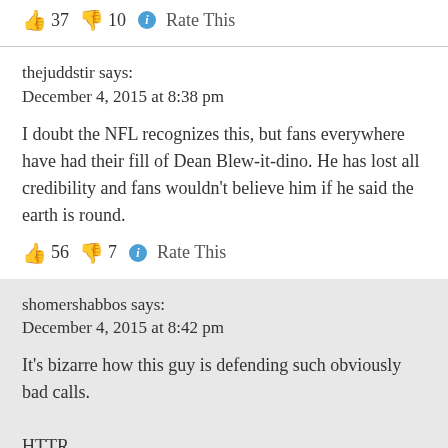👍 37 👎 10 ℹ Rate This
thejuddstir says:
December 4, 2015 at 8:38 pm
I doubt the NFL recognizes this, but fans everywhere have had their fill of Dean Blew-it-dino. He has lost all credibility and fans wouldn't believe him if he said the earth is round.
👍 56 👎 7 ℹ Rate This
shomershabbos says:
December 4, 2015 at 8:42 pm
It's bizarre how this guy is defending such obviously bad calls.

HTTR
👍 53 👎 10 ℹ Rate This
thejuddstir says: